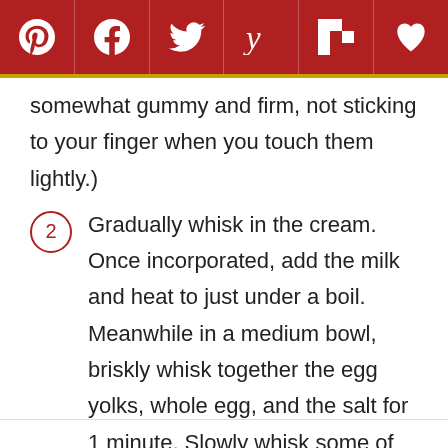Social sharing toolbar with Pinterest, Facebook, Twitter, Yummly, Flipboard, and heart/save icons
somewhat gummy and firm, not sticking to your finger when you touch them lightly.)
2. Gradually whisk in the cream. Once incorporated, add the milk and heat to just under a boil. Meanwhile in a medium bowl, briskly whisk together the egg yolks, whole egg, and the salt for 1 minute. Slowly whisk some of the hot cream into the egg mixture to warm it. Gradually pour the warmed egg mixture into the hot cream mixture, whisking